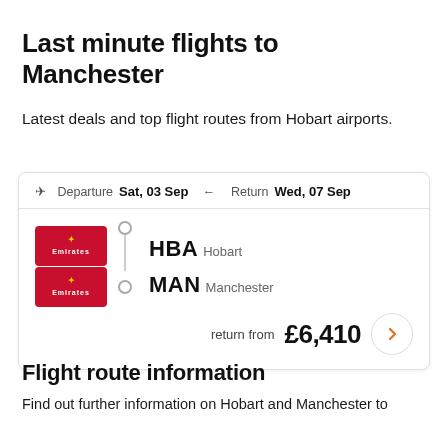Last minute flights to Manchester
Latest deals and top flight routes from Hobart airports.
[Figure (infographic): Flight card showing Emirates airline route from HBA (Hobart) to MAN (Manchester), departure Sat 03 Sep, return Wed 07 Sep, price return from £6,410]
Flight route information
Find out further information on Hobart and Manchester to